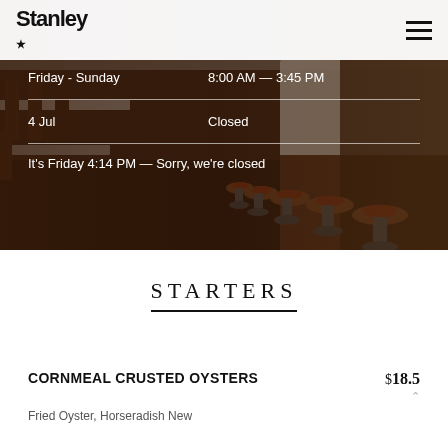[Figure (photo): Restaurant interior photo showing a row of bar stools along a dark wood counter, with dining tables and chairs in background. Overlaid with hours information.]
Friday - Sunday   8:00 AM — 3:45 PM
4 Jul   Closed
It's Friday 4:14 PM — Sorry, we're closed
STARTERS
CORNMEAL CRUSTED OYSTERS   $18.5
Fried Oyster, Horseradish New